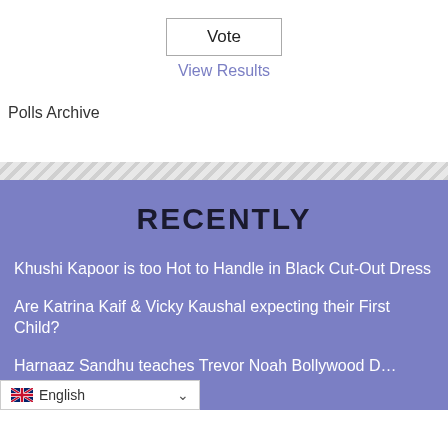Vote
View Results
Polls Archive
RECENTLY
Khushi Kapoor is too Hot to Handle in Black Cut-Out Dress
Are Katrina Kaif & Vicky Kaushal expecting their First Child?
Harnaaz Sandhu teaches Trevor Noah Bollywood D…
English